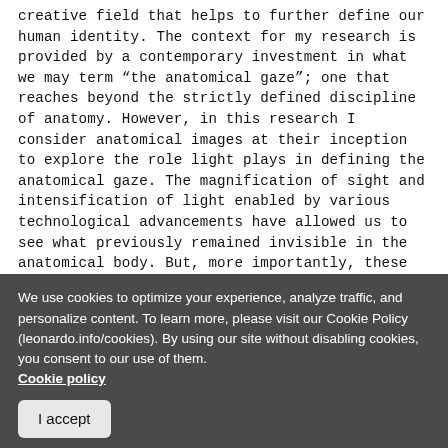creative field that helps to further define our human identity. The context for my research is provided by a contemporary investment in what we may term “the anatomical gaze”; one that reaches beyond the strictly defined discipline of anatomy. However, in this research I consider anatomical images at their inception to explore the role light plays in defining the anatomical gaze. The magnification of sight and intensification of light enabled by various technological advancements have allowed us to see what previously remained invisible in the anatomical body. But, more importantly, these technical developments have also provided us with new ways of conceptualizing these recently discovered bodily structures and their representations. For this reason, in this research I
We use cookies to optimize your experience, analyze traffic, and personalize content. To learn more, please visit our Cookie Policy (leonardo.info/cookies). By using our site without disabling cookies, you consent to our use of them. Cookie policy
I accept